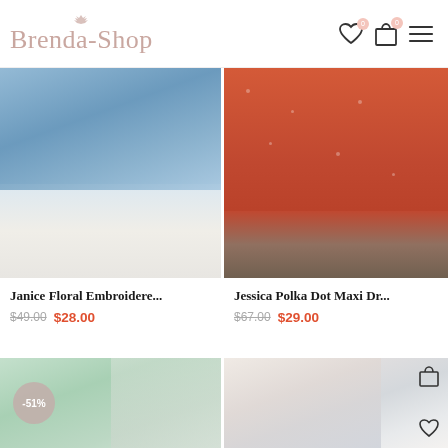Brenda-Shop — navigation header with logo, heart icon (0), cart icon (0), and menu
[Figure (photo): Blue floral embroidered top with ruffled sleeves, model with arms crossed, white pants]
[Figure (photo): Red polka dot maxi dress, model walking on beach, flowy skirt]
Janice Floral Embroidere...
Jessica Polka Dot Maxi Dr...
$49.00  $28.00
$67.00  $29.00
[Figure (photo): Model in mint/green off-shoulder top, -51% sale badge]
[Figure (photo): Model in white floral/blue print camisole dress, cart and heart icons overlay]